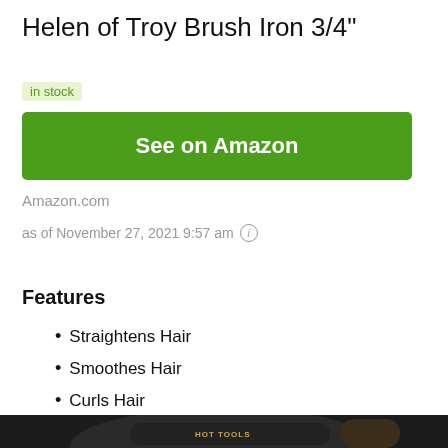Helen of Troy Brush Iron 3/4"
in stock
See on Amazon
Amazon.com
as of November 27, 2021 9:57 am
Features
Straightens Hair
Smoothes Hair
Curls Hair
[Figure (photo): Product photo of Helen of Troy Brush Iron, dark/black colored hair tool with gold accents, showing partial view from above]